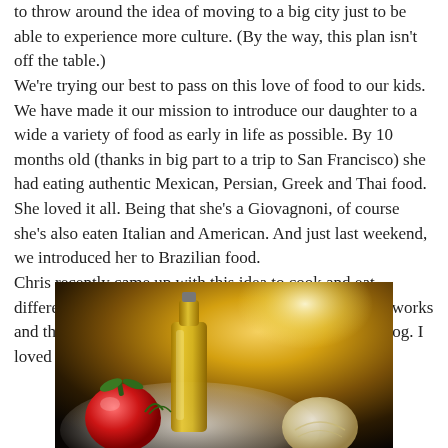to throw around the idea of moving to a big city just to be able to experience more culture. (By the way, this plan isn't off the table.) We're trying our best to pass on this love of food to our kids. We have made it our mission to introduce our daughter to a wide a variety of food as early in life as possible. By 10 months old (thanks in big part to a trip to San Francisco) she had eating authentic Mexican, Persian, Greek and Thai food. She loved it all. Being that she's a Giovagnoni, of course she's also eaten Italian and American. And just last weekend, we introduced her to Brazilian food. Chris recently came up with this idea to cook and eat different recipes from the countries where Compassion works and then he'd share our experiences on Compassion's blog. I loved the idea.
[Figure (photo): Photo of cooking ingredients including a bottle of olive oil, a red tomato, and garlic on a plate, with a dark background and warm golden lighting.]